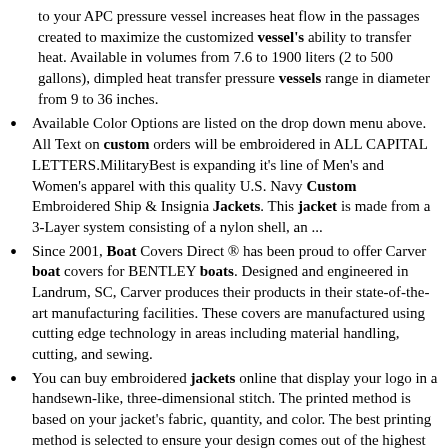to your APC pressure vessel increases heat flow in the passages created to maximize the customized vessel's ability to transfer heat. Available in volumes from 7.6 to 1900 liters (2 to 500 gallons), dimpled heat transfer pressure vessels range in diameter from 9 to 36 inches.
Available Color Options are listed on the drop down menu above. All Text on custom orders will be embroidered in ALL CAPITAL LETTERS.MilitaryBest is expanding it's line of Men's and Women's apparel with this quality U.S. Navy Custom Embroidered Ship & Insignia Jackets. This jacket is made from a 3-Layer system consisting of a nylon shell, an ...
Since 2001, Boat Covers Direct ® has been proud to offer Carver boat covers for BENTLEY boats. Designed and engineered in Landrum, SC, Carver produces their products in their state-of-the-art manufacturing facilities. These covers are manufactured using cutting edge technology in areas including material handling, cutting, and sewing.
You can buy embroidered jackets online that display your logo in a handsewn-like, three-dimensional stitch. The printed method is based on your jacket's fabric, quantity, and color. The best printing method is selected to ensure your design comes out of the highest quality. Upload a print-ready file of your logo or create one from scratch using ...